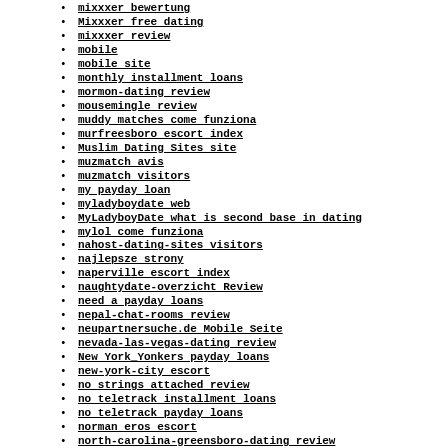mixxxer bewertung
Mixxxer free dating
mixxxer review
mobile
mobile site
monthly installment loans
mormon-dating review
mousemingle review
muddy matches come funziona
murfreesboro escort index
Muslim Dating Sites site
muzmatch avis
muzmatch visitors
my payday loan
myladyboydate web
MyLadyboyDate what is second base in dating
mylol come funziona
nahost-dating-sites visitors
najlepsze strony
naperville escort index
naughtydate-overzicht Review
need a payday loans
nepal-chat-rooms review
neupartnersuche.de Mobile Seite
nevada-las-vegas-dating review
New York_Yonkers payday loans
new-york-city escort
no strings attached review
no teletrack installment loans
no teletrack payday loans
norman eros escort
north-carolina-greensboro-dating review
north-carolina-raleigh-dating review
norwalk escort index